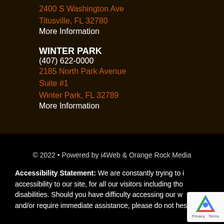2400 S Washington Ave
Titusville, FL 32780
More Information
WINTER PARK
(407) 622-0000
2185 North Park Avenue
Suite #1
Winter Park, FL 32789
More Information
© 2022 • Powered by i4Web & Orange Rock Media
Accessibility Statement: We are constantly trying to improve accessibility to our site, for all our visitors including those with disabilities. Should you have difficulty accessing our website and/or require immediate assistance, please do not hesitate to